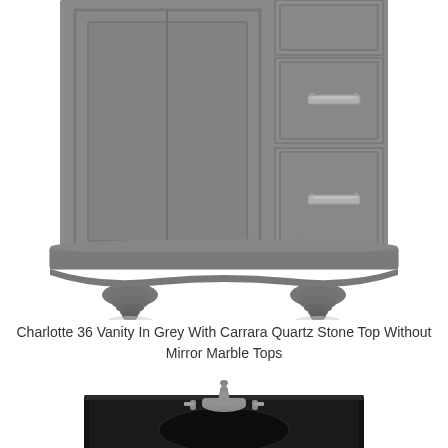[Figure (photo): Grey bathroom vanity cabinet (Charlotte 36) showing lower portion with two side drawers with brushed nickel bar pulls, double door cabinet with raised panel detail, decorative crown molding base, and four turned bun feet in grey finish]
Charlotte 36 Vanity In Grey With Carrara Quartz Stone Top Without Mirror Marble Tops
[Figure (photo): Dark black granite/stone vanity top with undermount sink and brushed nickel widespread faucet with two handles, shown from above at slight angle]